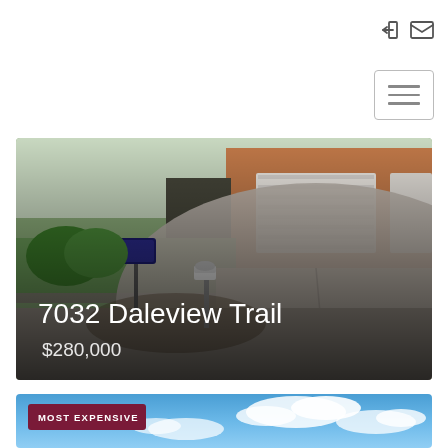[Figure (photo): Top navigation bar with login and mail icons on the right side]
[Figure (other): Hamburger menu button with three horizontal lines, bordered box, top-right]
[Figure (photo): Property listing photo of a house with driveway, mailbox, and for-sale sign. Overlay text shows address and price.]
7032 Daleview Trail
$280,000
[Figure (photo): Second property listing card showing blue sky with clouds, labeled MOST EXPENSIVE]
MOST EXPENSIVE